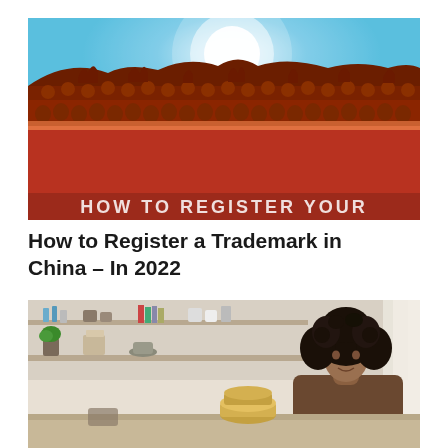[Figure (photo): Photo of traditional Chinese architecture rooftop with red walls and decorative glazed roof tiles against a blue sky with bright sun glare. Text overlay at bottom reads 'HOW TO REGISTER YOUR' (partially visible).]
How to Register a Trademark in China – In 2022
[Figure (photo): Photo of a person with curly hair sitting in a kitchen or workshop setting, with shelves of items in the background including books, pots, and decorative objects.]